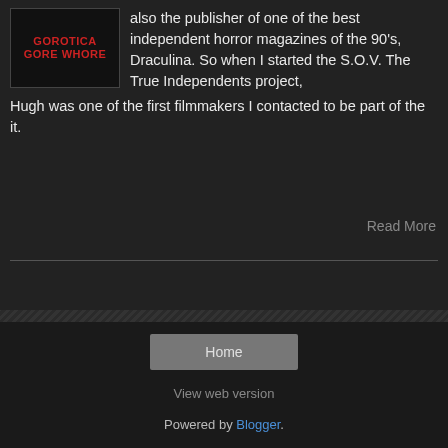[Figure (illustration): Book/magazine cover image with red bold text reading GOROTICA GORE WHORE on a dark background]
also the publisher of one of the best independent horror magazines of the 90's, Draculina. So when I started the S.O.V. The True Independents project, Hugh was one of the first filmmakers I contacted to be part of the it.
Read More
Home
View web version
Powered by Blogger.